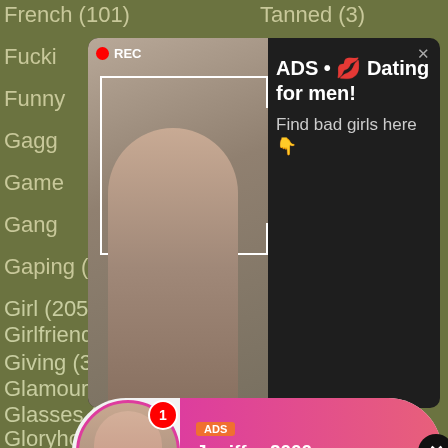French (101)
Fucki...
Funny
Gagg
Game
Gang
Gaping (103)
Gay (12...)
Germ
Ghett
Giant (29)
Girl (2055)
Girlfriend (204)
Giving (30)
Glamour (4)
Glasses (46)
Gloryhole (20)
Tanned (3)
Thai (92)
Tight (321)
Tiny (93)
Tits (2848)
Toilet (11)
Tongue (15)
Toon (25)
[Figure (photo): Dark popup ad with woman taking selfie, REC badge, camera frame overlay]
ADS • 💋 Dating for men! Find bad girls here 👇
[Figure (photo): Pink live stream ad popup with avatar, LIVE badge, Jeniffer 2000 (00:12)💋]